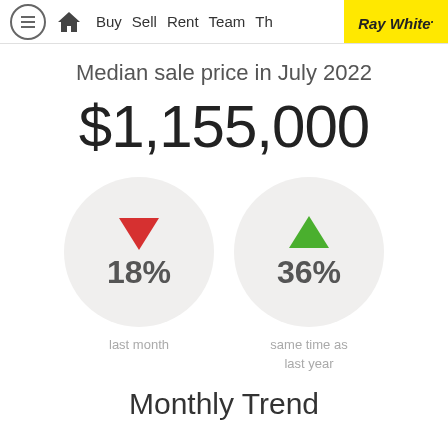≡ 🏠 Buy Sell Rent Team The Ray White.
Median sale price in July 2022
$1,155,000
[Figure (infographic): Two circular badges side by side. Left badge: red downward triangle, 18%, last month. Right badge: green upward triangle, 36%, same time as last year.]
Monthly Trend